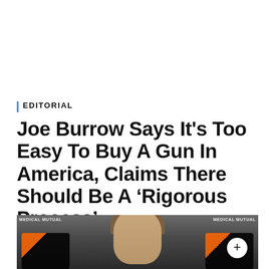EDITORIAL
Joe Burrow Says It's Too Easy To Buy A Gun In America, Claims There Should Be A ‘Rigorous Process’
[Figure (photo): Press conference photo of Joe Burrow in front of Medical Mutual branded backdrop with Cincinnati Bengals logos visible on either side]